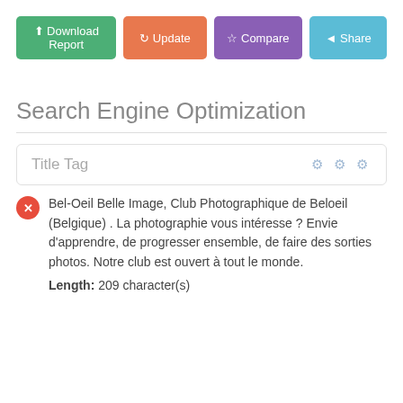[Figure (screenshot): Toolbar with four colored buttons: Download Report (green), Update (orange), Compare (purple), Share (blue)]
Search Engine Optimization
Title Tag
Bel-Oeil Belle Image, Club Photographique de Beloeil (Belgique) . La photographie vous intéresse ? Envie d'apprendre, de progresser ensemble, de faire des sorties photos. Notre club est ouvert à tout le monde. Length: 209 character(s)